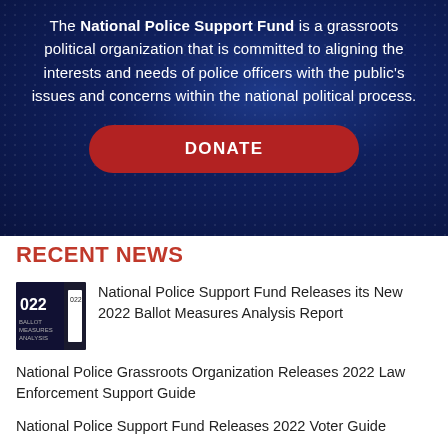[Figure (photo): Dark blue hero banner with police-related background and dot texture. Contains text about the National Police Support Fund and a red DONATE button.]
The National Police Support Fund is a grassroots political organization that is committed to aligning the interests and needs of police officers with the public's issues and concerns within the national political process.
RECENT NEWS
National Police Support Fund Releases its New 2022 Ballot Measures Analysis Report
National Police Grassroots Organization Releases 2022 Law Enforcement Support Guide
National Police Support Fund Releases 2022 Voter Guide
National Police Support Fund Sponsors FOP DC